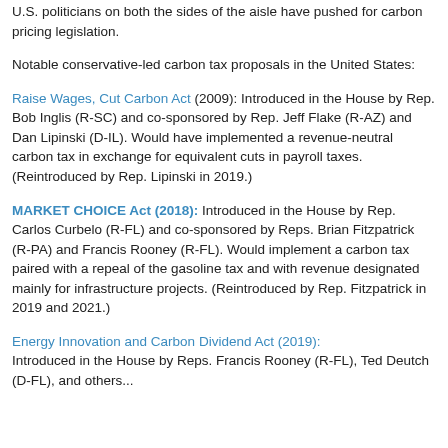U.S. politicians on both the sides of the aisle have pushed for carbon pricing legislation.
Notable conservative-led carbon tax proposals in the United States:
Raise Wages, Cut Carbon Act (2009): Introduced in the House by Rep. Bob Inglis (R-SC) and co-sponsored by Rep. Jeff Flake (R-AZ) and Dan Lipinski (D-IL). Would have implemented a revenue-neutral carbon tax in exchange for equivalent cuts in payroll taxes. (Reintroduced by Rep. Lipinski in 2019.)
MARKET CHOICE Act (2018): Introduced in the House by Rep. Carlos Curbelo (R-FL) and co-sponsored by Reps. Brian Fitzpatrick (R-PA) and Francis Rooney (R-FL). Would implement a carbon tax paired with a repeal of the gasoline tax and with revenue designated mainly for infrastructure projects. (Reintroduced by Rep. Fitzpatrick in 2019 and 2021.)
Energy Innovation and Carbon Dividend Act (2019): Introduced in the House by Reps. Francis Rooney (R-FL), Ted Deutch (D-FL), and others...